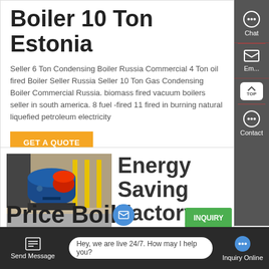Boiler 10 Ton Estonia
Seller 6 Ton Condensing Boiler Russia Commercial 4 Ton oil fired Boiler Seller Russia Seller 10 Ton Gas Condensing Boiler Commercial Russia. biomass fired vacuum boilers seller in south america. 8 fuel -fired 11 fired in burning natural liquefied petroleum electricity
[Figure (screenshot): Orange GET A QUOTE button]
[Figure (photo): Industrial boilers in a factory setting with yellow pillars and blue cylindrical boilers]
Energy Saving Factory
Price Boiler
[Figure (screenshot): Website UI sidebar with Chat, Email, and Contact buttons on dark background. Also shows a floating TOP scroll button.]
Hey, we are live 24/7. How may I help you?
Send Message   Inquiry Online